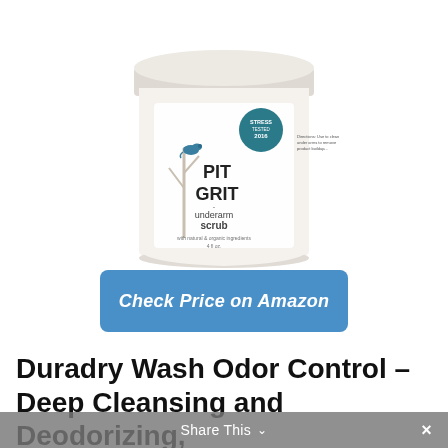[Figure (photo): Pit Grit underarm scrub product jar with white lid. Label shows a bird on a tree branch, 'PIT GRIT underarm scrub' branding, with natural and organic ingredients, 4 fl oz.]
Check Price on Amazon
Duradry Wash Odor Control – Deep Cleansing and Deodorizing, Neutralizes Odor while Nourishin...
Share This ∨  ×